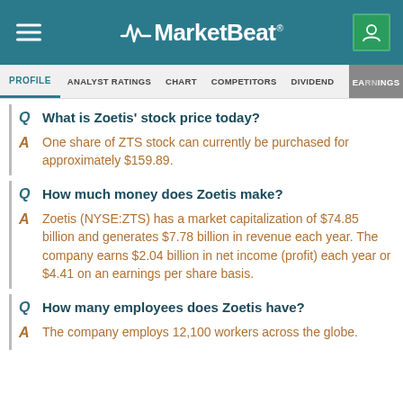MarketBeat
PROFILE  ANALYST RATINGS  CHART  COMPETITORS  DIVIDEND  EARNINGS
Q  What is Zoetis' stock price today?
A  One share of ZTS stock can currently be purchased for approximately $159.89.
Q  How much money does Zoetis make?
A  Zoetis (NYSE:ZTS) has a market capitalization of $74.85 billion and generates $7.78 billion in revenue each year. The company earns $2.04 billion in net income (profit) each year or $4.41 on an earnings per share basis.
Q  How many employees does Zoetis have?
A  The company employs 12,100 workers across the globe.